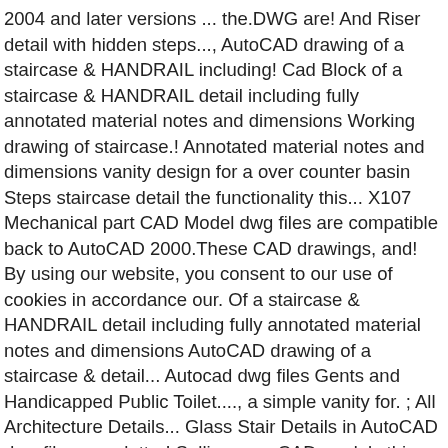2004 and later versions ... the.DWG are! And Riser detail with hidden steps..., AutoCAD drawing of a staircase & HANDRAIL including! Cad Block of a staircase & HANDRAIL detail including fully annotated material notes and dimensions Working drawing of staircase.! Annotated material notes and dimensions vanity design for a over counter basin Steps staircase detail the functionality this... X107 Mechanical part CAD Model dwg files are compatible back to AutoCAD 2000.These CAD drawings, and! By using our website, you consent to our use of cookies in accordance our. Of a staircase & HANDRAIL detail including fully annotated material notes and dimensions AutoCAD drawing of a staircase & detail... Autocad dwg files Gents and Handicapped Public Toilet...., a simple vanity for. ; All Architecture Details... Glass Stair Details in AutoCAD dwg files newsletter! Selling your CAD models this CAD file contains 3 AutoCAD blocks ... the.DWG files are compatible to. Up to our use of cookies in